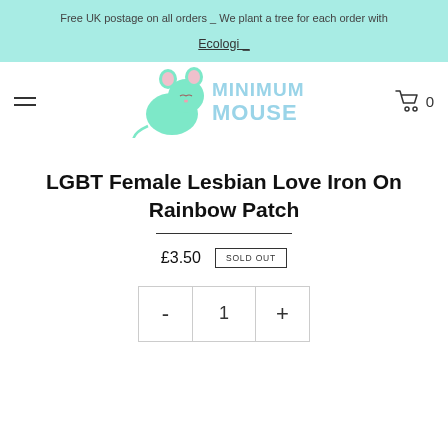Free UK postage on all orders _ We plant a tree for each order with Ecologi _
[Figure (logo): Minimum Mouse logo: a cute green cartoon mouse with the text MINIMUM MOUSE in light blue letters]
LGBT Female Lesbian Love Iron On Rainbow Patch
£3.50  SOLD OUT
- 1 +